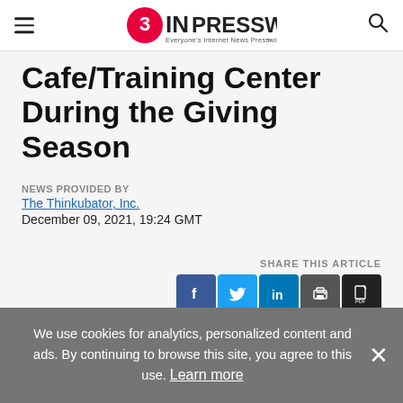EINPresswire - Everyone's Internet News Presswire
Cafe/Training Center During the Giving Season
NEWS PROVIDED BY
The Thinkubator, Inc.
December 09, 2021, 19:24 GMT
SHARE THIS ARTICLE
We use cookies for analytics, personalized content and ads. By continuing to browse this site, you agree to this use. Learn more